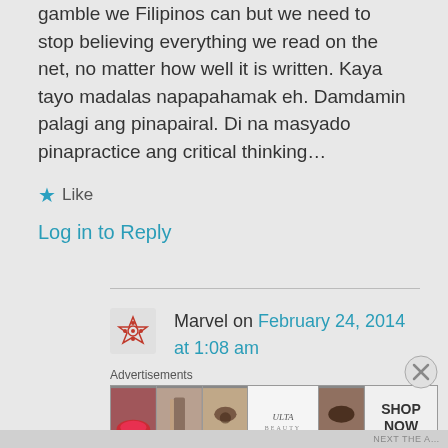gamble we Filipinos can but we need to stop believing everything we read on the net, no matter how well it is written. Kaya tayo madalas napapahamak eh. Damdamin palagi ang pinapairal. Di na masyado pinapractice ang critical thinking…
Like
Log in to Reply
Marvel on February 24, 2014 at 1:08 am
Advertisements
[Figure (photo): Ulta beauty advertisement banner with makeup images and SHOP NOW text]